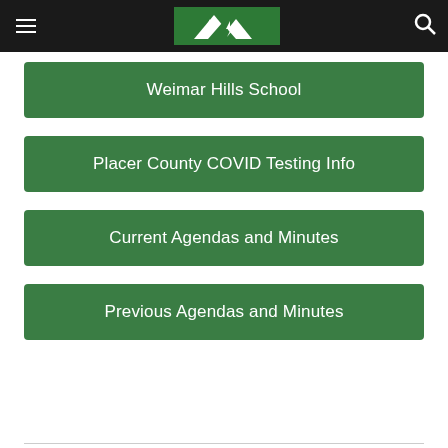Weimar Hills School navigation header with logo and search icon
Weimar Hills School
Placer County COVID Testing Info
Current Agendas and Minutes
Previous Agendas and Minutes